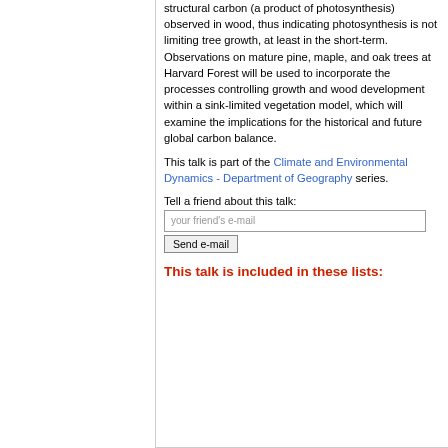structural carbon (a product of photosynthesis) observed in wood, thus indicating photosynthesis is not limiting tree growth, at least in the short-term. Observations on mature pine, maple, and oak trees at Harvard Forest will be used to incorporate the processes controlling growth and wood development within a sink-limited vegetation model, which will examine the implications for the historical and future global carbon balance.
This talk is part of the Climate and Environmental Dynamics - Department of Geography series.
Tell a friend about this talk:
your friend's e-mail
Send e-mail
This talk is included in these lists: